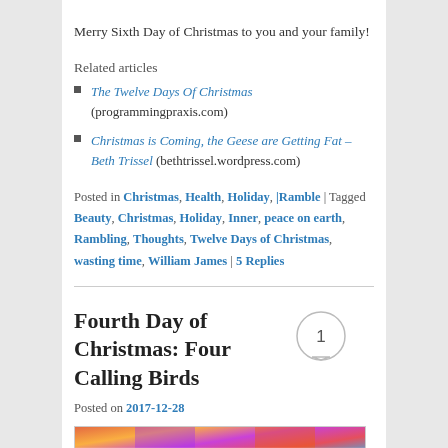Merry Sixth Day of Christmas to you and your family!
Related articles
The Twelve Days Of Christmas (programmingpraxis.com)
Christmas is Coming, the Geese are Getting Fat – Beth Trissel (bethtrissel.wordpress.com)
Posted in Christmas, Health, Holiday, |Ramble | Tagged Beauty, Christmas, Holiday, Inner, peace on earth, Rambling, Thoughts, Twelve Days of Christmas, wasting time, William James | 5 Replies
Fourth Day of Christmas: Four Calling Birds
Posted on 2017-12-28
[Figure (photo): Colorful decorative image strip at the bottom of the page]